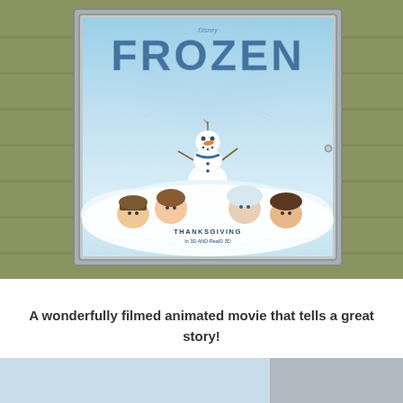[Figure (photo): A photograph of a Disney Frozen movie poster displayed in a silver frame mounted on a yellow siding wall outside a theater. The poster shows the title 'FROZEN' with Disney logo above it, Olaf the snowman character in the center, and four characters (Hans, Anna, Elsa, and Kristoff) peeking out from snow at the bottom. Text reads 'THANKSGIVING' and '3D AND RealD 3D' at the bottom of the poster.]
A wonderfully filmed animated movie that tells a great story!